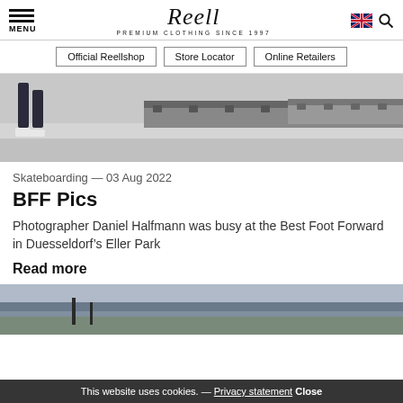Reell — PREMIUM CLOTHING SINCE 1997
Official Reellshop | Store Locator | Online Retailers
[Figure (photo): Skateboarder's legs at a skate park with barriers in background]
Skateboarding — 03 Aug 2022
BFF Pics
Photographer Daniel Halfmann was busy at the Best Foot Forward in Duesseldorf's Eller Park
Read more
[Figure (photo): Outdoor landscape photo, partially visible at bottom of page]
This website uses cookies. — Privacy statement Close